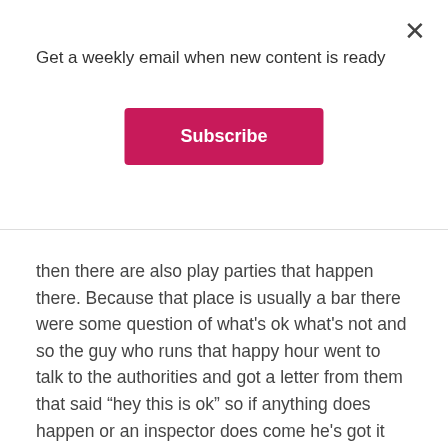Get a weekly email when new content is ready
Subscribe
then there are also play parties that happen there. Because that place is usually a bar there were some question of what's ok what's not and so the guy who runs that happy hour went to talk to the authorities and got a letter from them that said “hey this is ok” so if anything does happen or an inspector does come he's got it laminated and he can pull it out. That makes me think the environment there is somewhat open and accepting to it.
There is some concern by participants in that area because there are different types of government